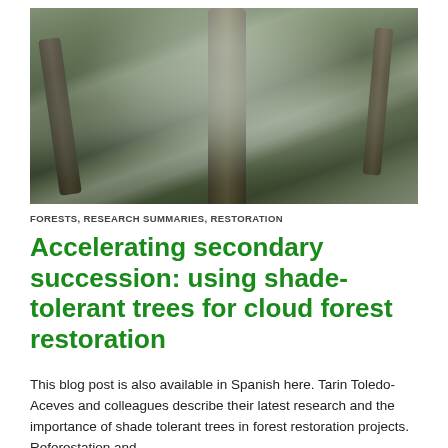[Figure (photo): A misty cloud forest with tall moss-covered tree trunks surrounded by lush green foliage and fog]
FORESTS, RESEARCH SUMMARIES, RESTORATION
Accelerating secondary succession: using shade-tolerant trees for cloud forest restoration
This blog post is also available in Spanish here. Tarin Toledo-Aceves and colleagues describe their latest research and the importance of shade tolerant trees in forest restoration projects. Reforestation and